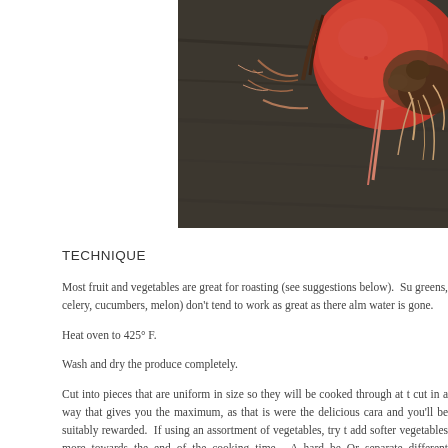[Figure (photo): Close-up photograph of a red radish with roots and soil on a dark wooden surface]
TECHNIQUE
Most fruit and vegetables are great for roasting (see suggestions below).  Su greens, celery, cucumbers, melon) don't tend to work as great as there alm water is gone.
Heat oven to 425° F.
Wash and dry the produce completely.
Cut into pieces that are uniform in size so they will be cooked through at t cut in a way that gives you the maximum, as that is were the delicious cara and you'll be suitably rewarded.  If using an assortment of vegetables, try t add softer vegetables more towards the end of the cooking time.  A hard be Or separate different vegetables on multiple baking sheets so they are...